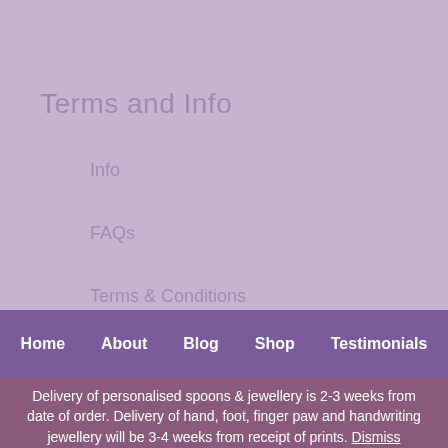Terms and Info
Info
FAQs
Terms & Conditions
Sitemap
XML Sitemap
Home   About   Blog   Shop   Testimonials
Delivery of personalised spoons & jewellery is 2-3 weeks from date of order. Delivery of hand, foot, finger paw and handwriting jewellery will be 3-4 weeks from receipt of prints. Dismiss